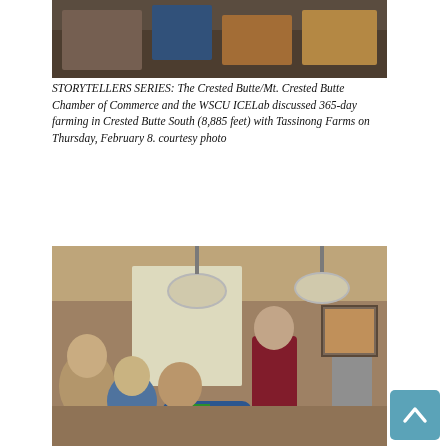[Figure (photo): Partial view of people on floor, colorful clothing visible from above]
STORYTELLERS SERIES: The Crested Butte/Mt. Crested Butte Chamber of Commerce and the WSCU ICELab discussed 365-day farming in Crested Butte South (8,885 feet) with Tassinong Farms on Thursday, February 8. courtesy photo
[Figure (photo): Indoor event scene showing audience seated at tables listening to speaker standing, pendant lamps visible overhead, artwork on walls]
STORYTELLERS SERIES: The Crested Butte/Mt. Crested Butte Chamber of Commerce and the WSCU ICELab discussed 365-day farming in Crested Butte South (8,885 feet) with Tassinong Farms on Thursday, February 8. courtesy photo
Cameos: What makes your Tuesday Phat?